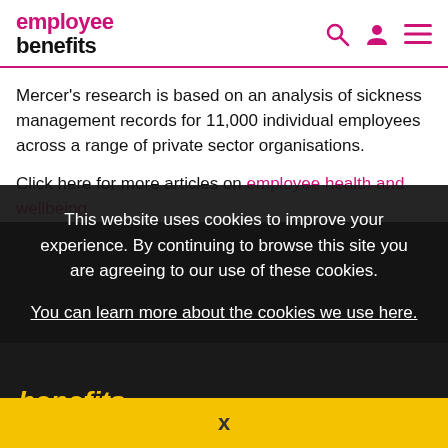employee benefits
Mercer’s research is based on an analysis of sickness management records for 11,000 individual employees across a range of private sector organisations.
Click here for more articles on employee health and wellbeing
[Figure (screenshot): Cookie consent overlay on dark background with text: This website uses cookies to improve your experience. By continuing to browse this site you are agreeing to our use of these cookies. You can learn more about the cookies we use here.]
[Figure (photo): Employee Benefits LIVE event promotional image with yellow text on dark background, showing 'benefits LIVE 22' and an Alex Brooker photo. Yellow bar at bottom with X close button.]